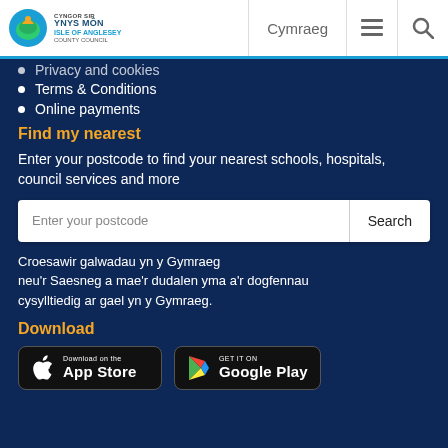Cyngor Sir Ynys Môn Isle of Anglesey County Council | Cymraeg
Privacy and cookies
Terms & Conditions
Online payments
Find my nearest
Enter your postcode to find your nearest schools, hospitals, council services and more
Croesawir galwadau yn y Gymraeg neu'r Saesneg a mae'r dudalen yma a'r dogfennau cysylltiedig ar gael yn y Gymraeg.
Download
[Figure (screenshot): App Store and Google Play download badges]